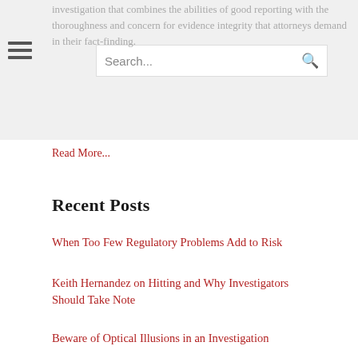investigation that combines the abilities of good reporting with the thoroughness and concern for evidence integrity that attorneys demand in their fact-finding.
Read More...
Recent Posts
When Too Few Regulatory Problems Add to Risk
Keith Hernandez on Hitting and Why Investigators Should Take Note
Beware of Optical Illusions in an Investigation
Five Questions to Ask an Investigator Before Hiring
Copyright © 2022, Charles Griffin Intelligence LLC. All Rights Reserved.
Law blog design & platform by LexBlog